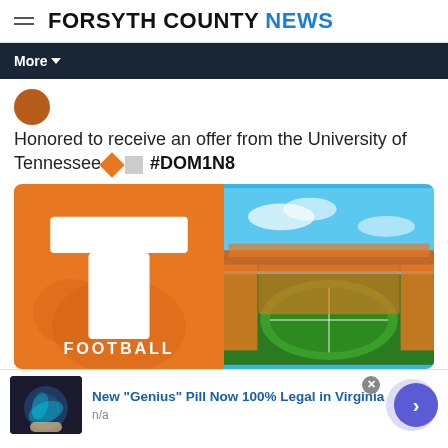FORSYTH COUNTY NEWS
More
Honored to receive an offer from the University of Tennessee 🔶 ⬜ #DOM1N8
[Figure (photo): Two-panel image collage: left panel shows University of Tennessee orange background with white block letter T and 'FOOTBALL' text; right panel shows aerial view of a packed college football stadium (Neyland Stadium) with orange and white crowd.]
New "Genius" Pill Now 100% Legal in Virginia
n/a